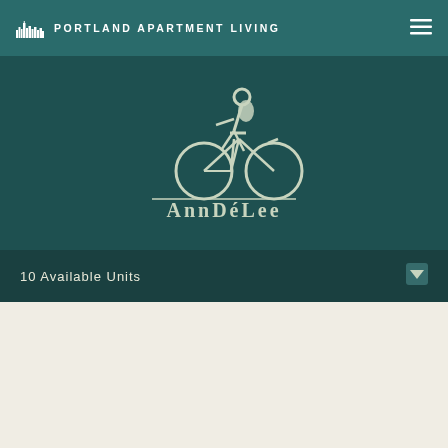PORTLAND APARTMENT LIVING
[Figure (logo): AnnDéLee apartment logo with cyclist on bicycle icon above stylized text]
10 Available Units